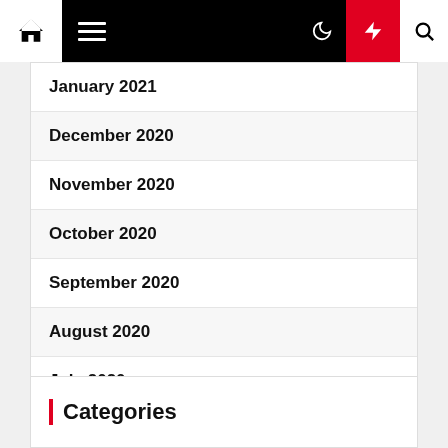Navigation bar with home, menu, moon, bolt, search icons
January 2021
December 2020
November 2020
October 2020
September 2020
August 2020
July 2020
June 2020
Categories